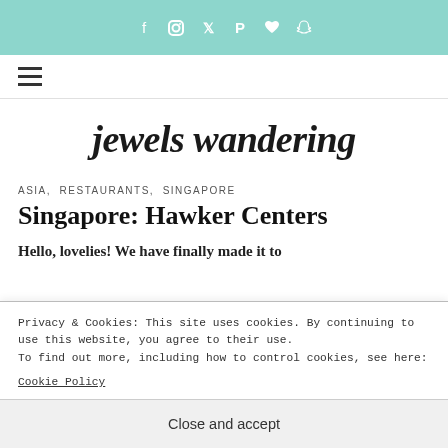Social icons bar: Facebook, Instagram, Twitter, Pinterest, Bloglovin, Snapchat
[Figure (logo): jewels wandering blog logo in italic script font with teal highlight underline]
ASIA, RESTAURANTS, SINGAPORE
Singapore: Hawker Centers
Hello, lovelies! We have finally made it to
Privacy & Cookies: This site uses cookies. By continuing to use this website, you agree to their use.
To find out more, including how to control cookies, see here:
Cookie Policy
Close and accept
around food. Here in Singapore (and in